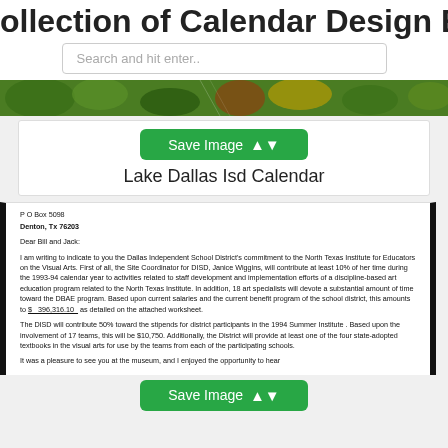ollection of Calendar Design Exampl
Search and hit enter..
[Figure (photo): Nature image with green plants and reddish-brown textures]
Save Image
Lake Dallas Isd Calendar
P O Box 5098
Denton, Tx 76203
Dear Bill and Jack:
I am writing to indicate to you the Dallas Independent School District's commitment to the North Texas Institute for Educators on the Visual Arts. First of all, the Site Coordinator for DISD, Janice Wiggins, will contribute at least 10% of her time during the 1993-94 calendar year to activities related to staff development and implementation efforts of a discipline-based art education program related to the North Texas Institute. In addition, 18 art specialists will devote a substantial amount of time toward the DBAE program. Based upon current salaries and the current benefit program of the school district, this amounts to $_ 396,316.10_ as detailed on the attached worksheet.
The DISD will contribute 50% toward the stipends for district participants in the 1994 Summer Institute . Based upon the involvement of 17 teams, this will be $10,750. Additionally, the District will provide at least one of the four state-adopted textbooks in the visual arts for use by the teams from each of the participating schools.
It was a pleasure to see you at the museum, and I enjoyed the opportunity to hear
Save Image